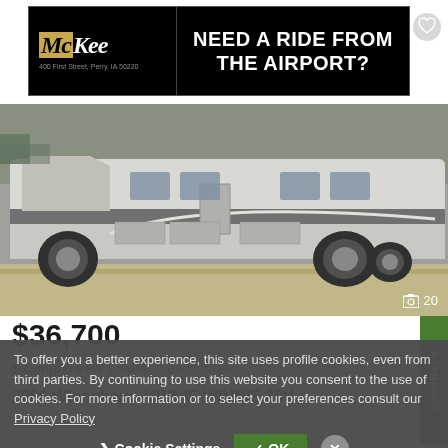[Figure (screenshot): McKee auto dealership advertisement banner: black background with McKee logo on left (400 First Street, Perry, IA 50220) and text 'NEED A RIDE FROM THE AIRPORT?' on right in white bold text]
[Figure (photo): Side view of a 2006 Winnebago Minnie Winnie 30V motorhome/RV in silver and gray, parked on a concrete surface. Photo counter shows 20 photos.]
$36,700
$ Compare RV Loans | lendingtree
2006 Winnebago MINNIE WINNIE 30V
To offer you a better experience, this site uses profile cookies, even from third parties. By continuing to use this website you consent to the use of cookies. For more information or to select your preferences consult our Privacy Policy
Cookie Settings  ✓ OK  ✕